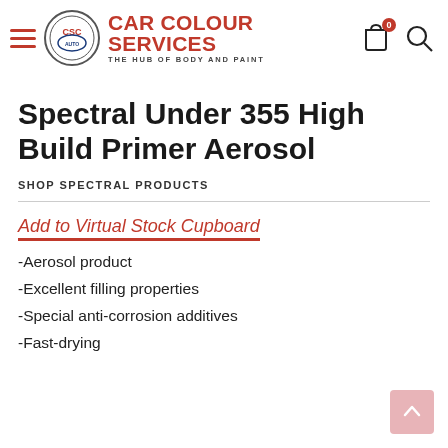Car Colour Services – The Hub of Body and Paint
Spectral Under 355 High Build Primer Aerosol
SHOP SPECTRAL PRODUCTS
Add to Virtual Stock Cupboard
-Aerosol product
-Excellent filling properties
-Special anti-corrosion additives
-Fast-drying